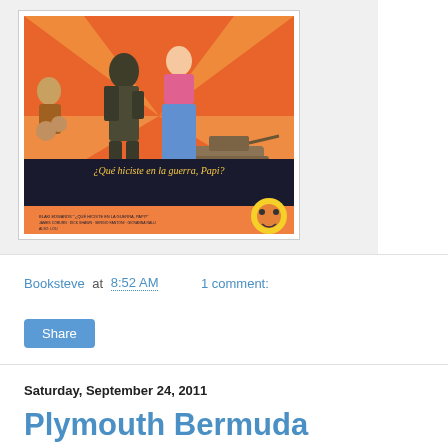[Figure (illustration): Spanish movie poster for '¿Qué hiciste en la guerra, Papi?' showing illustrated characters including a man and woman walking with a tank in the background, colorful cartoon style with orange/red tones]
Booksteve at 8:52 AM    1 comment:
Share
Saturday, September 24, 2011
Plymouth Bermuda